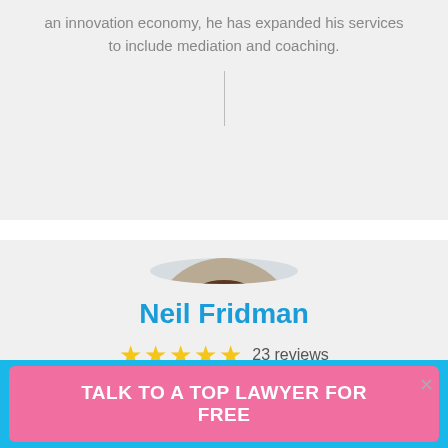an innovation economy, he has expanded his services to include mediation and coaching.
[Figure (photo): Circular profile photo of Neil Fridman, a man in a navy suit with a blue tie, smiling, photographed in an office setting.]
Neil Fridman
23 reviews
I enjoy advising companies and identifying solutions to complex business and legal problems. My intimate knowledge of corporate/real estate law, investment banking, and
TALK TO A TOP LAWYER FOR FREE